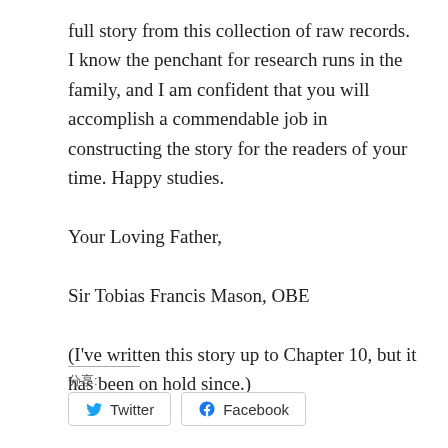full story from this collection of raw records. I know the penchant for research runs in the family, and I am confident that you will accomplish a commendable job in constructing the story for the readers of your time. Happy studies.

Your Loving Father,

Sir Tobias Francis Mason, OBE

(I've written this story up to Chapter 10, but it has been on hold since.)
分享:
Twitter  Facebook